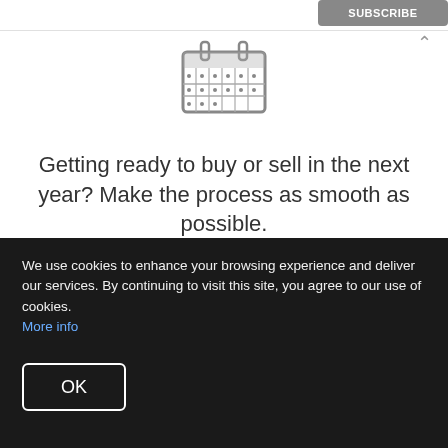[Figure (illustration): Calendar icon illustration, line-art style, showing a calendar with grid rows]
Getting ready to buy or sell in the next year? Make the process as smooth as possible.
Our Tips >
favorite rooms, here are the latest paint trends to consider and how to use them during your next home improvement project.
We use cookies to enhance your browsing experience and deliver our services. By continuing to visit this site, you agree to our use of cookies. More info
OK